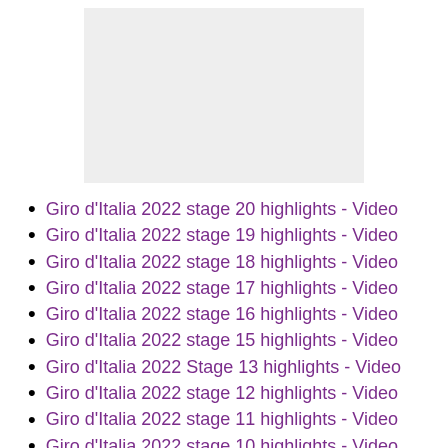[Figure (other): Gray placeholder image/video thumbnail]
Giro d'Italia 2022 stage 20 highlights - Video
Giro d'Italia 2022 stage 19 highlights - Video
Giro d'Italia 2022 stage 18 highlights - Video
Giro d'Italia 2022 stage 17 highlights - Video
Giro d'Italia 2022 stage 16 highlights - Video
Giro d'Italia 2022 stage 15 highlights - Video
Giro d'Italia 2022 Stage 13 highlights - Video
Giro d'Italia 2022 stage 12 highlights - Video
Giro d'Italia 2022 stage 11 highlights - Video
Giro d'Italia 2022 stage 10 highlights - Video